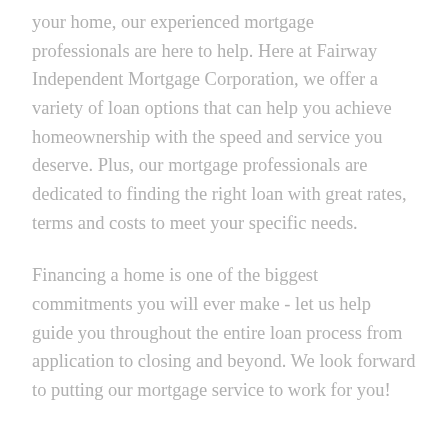your home, our experienced mortgage professionals are here to help. Here at Fairway Independent Mortgage Corporation, we offer a variety of loan options that can help you achieve homeownership with the speed and service you deserve. Plus, our mortgage professionals are dedicated to finding the right loan with great rates, terms and costs to meet your specific needs.
Financing a home is one of the biggest commitments you will ever make - let us help guide you throughout the entire loan process from application to closing and beyond. We look forward to putting our mortgage service to work for you!